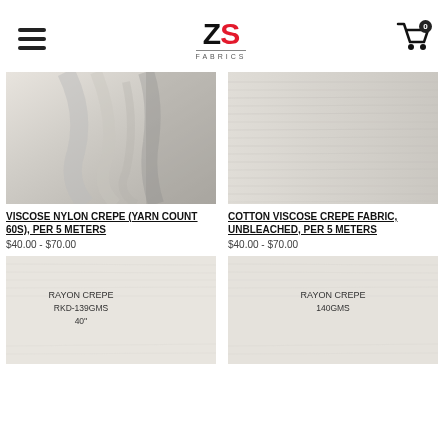ZS Fabrics
[Figure (photo): White/cream viscose nylon crepe fabric draped, showing soft folds]
[Figure (photo): Cotton viscose crepe fabric unbleached, close-up texture]
VISCOSE NYLON CREPE (YARN COUNT 60S), PER 5 METERS
$40.00 - $70.00
COTTON VISCOSE CREPE FABRIC, UNBLEACHED, PER 5 METERS
$40.00 - $70.00
[Figure (photo): Rayon crepe fabric sample with handwritten label: RAYON CREPE RKD-139GMS 40'']
[Figure (photo): Rayon crepe fabric sample with handwritten label: RAYON CREPE 140GMS]